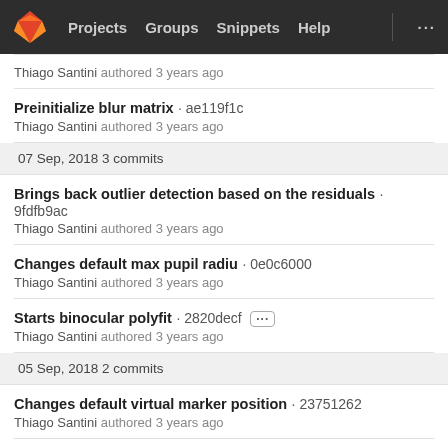Projects  Groups  Snippets  Help  ...
Thiago Santini authored 3 years ago
Preinitialize blur matrix · ae119f1c
Thiago Santini authored 3 years ago
07 Sep, 2018 3 commits
Brings back outlier detection based on the residuals · 9fdfb9ac
Thiago Santini authored 3 years ago
Changes default max pupil radiu · 0e0c6000
Thiago Santini authored 3 years ago
Starts binocular polyfit · 2820decf ···
Thiago Santini authored 3 years ago
05 Sep, 2018 2 commits
Changes default virtual marker position · 23751262
Thiago Santini authored 3 years ago